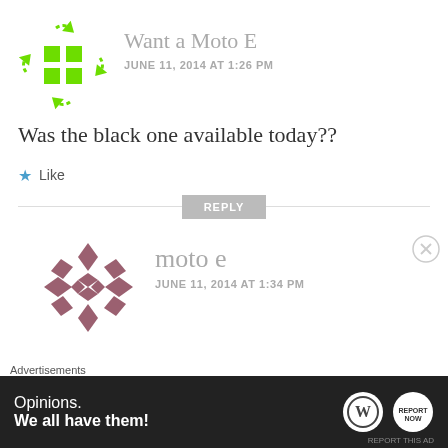[Figure (logo): Green grid/crosshair avatar icon for 'Want a Moto E' user]
Want a Moto E
JUNE 11, 2014 AT 1:26 PM
Was the black one available today??
★ Like
REPLY
[Figure (logo): Mauve/purple geometric diamond pattern avatar for 'moto e' user]
moto e
JUNE 11, 2014 AT 1:34 PM
Advertisements
[Figure (screenshot): Dark advertisement banner: 'Opinions. We all have them!' with WordPress and another logo]